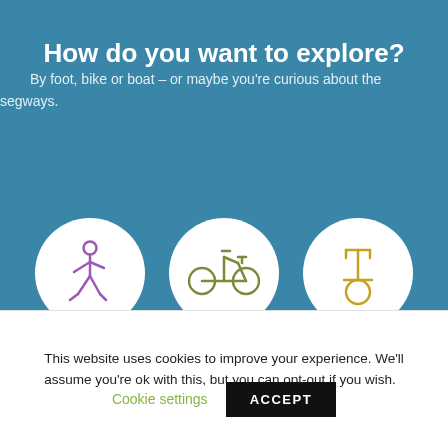How do you want to explore?
By foot, bike or boat – or maybe you're curious about the segways.
[Figure (illustration): Three white circles on a blue background, each containing an icon: a purple walking person, an olive-green bicycle, and a yellow segway/scooter.]
This website uses cookies to improve your experience. We'll assume you're ok with this, but you can opt-out if you wish.
Cookie settings
ACCEPT